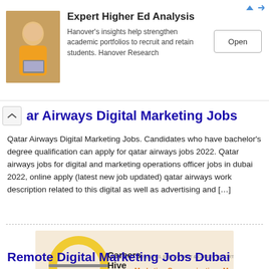[Figure (infographic): Advertisement banner: photo of woman with laptop, title 'Expert Higher Ed Analysis', body text about Hanover Research, Open button]
ar Airways Digital Marketing Jobs
Qatar Airways Digital Marketing Jobs. Candidates who have bachelor's degree qualification can apply for qatar airways jobs 2022. Qatar airways jobs for digital and marketing operations officer jobs in dubai 2022, online apply (latest new job updated) qatar airways work description related to this digital as well as advertising and [...]
[Figure (infographic): Careers Hive advertisement: Marketing Communications Manager Job @ ABB | Dubai, https://www.careershive.com]
Remote Digital Marketing Jobs Dubai